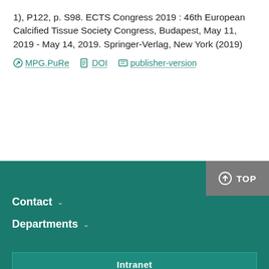1), P122, p. S98. ECTS Congress 2019 : 46th European Calcified Tissue Society Congress, Budapest, May 11, 2019 - May 14, 2019. Springer-Verlag, New York (2019)
MPG.PuRe | DOI | publisher-version
Contact | Departments | Intranet | Webmail | TOP